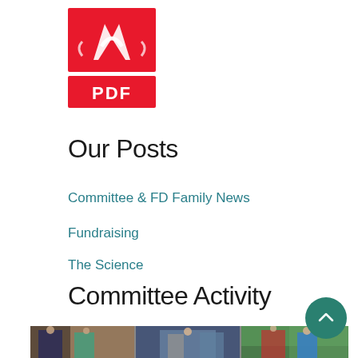[Figure (logo): Adobe PDF icon – red square with white Acrobat A logo on top, red rectangle with white PDF text below]
Our Posts
Committee & FD Family News
Fundraising
The Science
Committee Activity
[Figure (photo): Strip of three photos showing committee activity events: people at a fundraising table, a woman at a display stand, a man in a suit speaking, and a woman in a blue t-shirt outdoors]